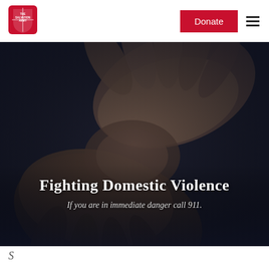[Figure (logo): The Salvation Army shield logo in red, positioned in the top-left of the navigation bar]
Donate  ≡
[Figure (photo): Dark, moody photograph of clasped hands held together, suggesting distress or solidarity, used as hero background image]
Fighting Domestic Violence
If you are in immediate danger call 911.
S